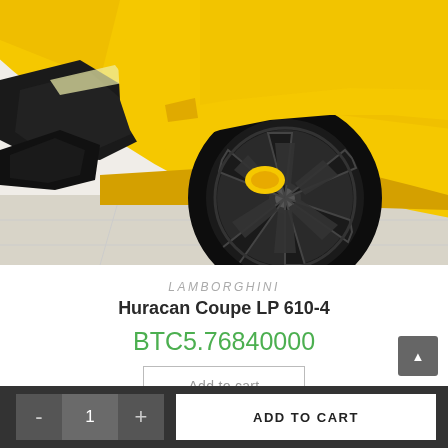[Figure (photo): Close-up photo of a yellow Lamborghini Huracan Coupe LP 610-4, showing the front hood, headlight, and large black alloy wheel with yellow brake caliper, parked on a light gray tile floor.]
LAMBORGHINI
Huracan Coupe LP 610-4
BTC5.76840000
Add to cart
- 1 + ADD TO CART